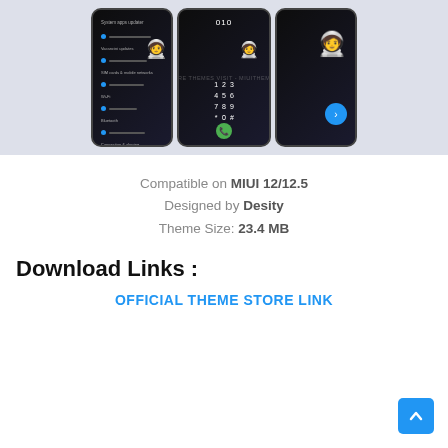[Figure (screenshot): Three smartphones showing a dark space/astronaut MIUI theme. Left phone shows settings menu with blue dots and menu items. Center phone shows a dialer with number pad. Right phone shows astronaut floating in space on a dark background. A watermark reads 'FOR MORE THEMES VISIT - MIUITHEMES.COM'.]
Compatible on MIUI 12/12.5
Designed by Desity
Theme Size: 23.4 MB
Download Links :
OFFICIAL THEME STORE LINK